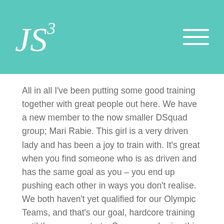JS³
All in all I've been putting some good training together with great people out here. We have a new member to the now smaller DSquad group; Mari Rabie. This girl is a very driven lady and has been a joy to train with. It's great when you find someone who is as driven and has the same goal as you – you end up pushing each other in ways you don't realise. We both haven't yet qualified for our Olympic Teams, and that's our goal, hardcore training until the season starts. So we are sharing this journey together, getting each other through the tired days, and enjoying the few hours rest we're being given by Coach!
Also out here is our Jodie #1 – Miss Jodie Swallow! Jodie is a seasoned athlete and has loads of experience that I admire very much. She is such a positive, hard working person...